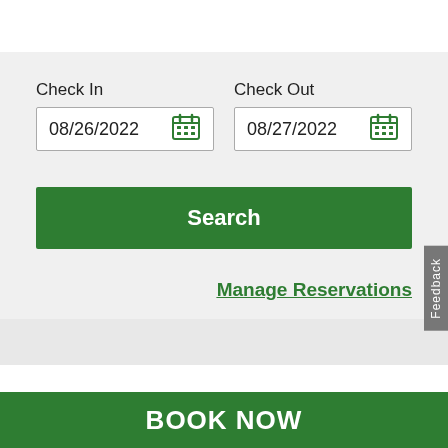Check In
08/26/2022
Check Out
08/27/2022
Search
Feedback
Manage Reservations
BOOK NOW